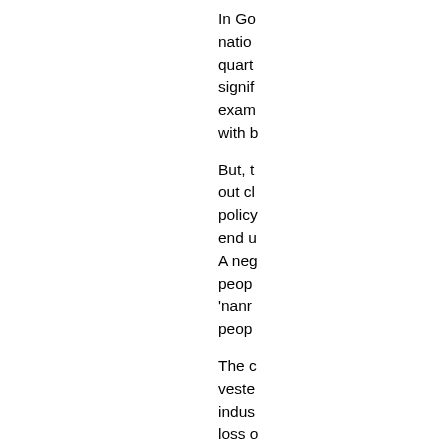In Go natio quart signif exam with b But, t out cl policy end u A neg peop 'nanr peop The c veste indus loss o